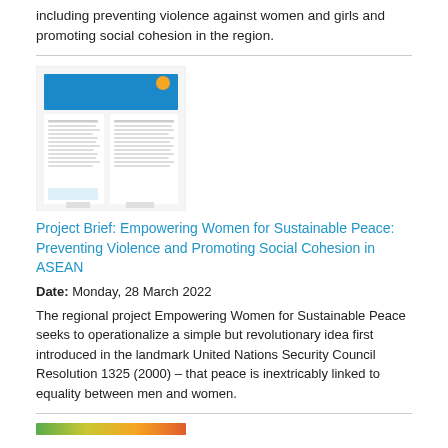including preventing violence against women and girls and promoting social cohesion in the region.
[Figure (photo): Thumbnail image of a project brief document titled 'Empowering Women for Sustainable Peace: Preventing Violence and Promoting Social Cohesion in ASEAN']
Project Brief: Empowering Women for Sustainable Peace: Preventing Violence and Promoting Social Cohesion in ASEAN
Date: Monday, 28 March 2022
The regional project Empowering Women for Sustainable Peace seeks to operationalize a simple but revolutionary idea first introduced in the landmark United Nations Security Council Resolution 1325 (2000) – that peace is inextricably linked to equality between men and women.
[Figure (illustration): Bottom thumbnail showing a colorful horizontal bar (green, yellow-green, orange, red-orange)]